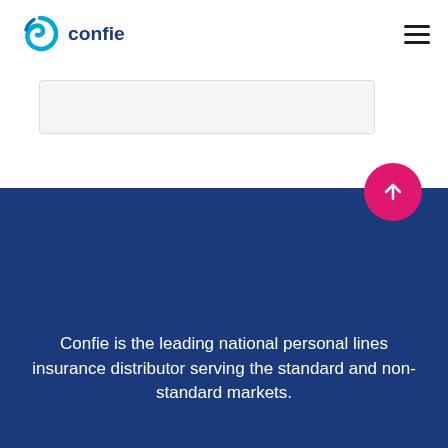[Figure (logo): Confie logo with blue spiral icon and 'confie' wordmark in dark blue]
[Figure (other): Hamburger menu icon (three horizontal lines) in top right corner]
[Figure (other): Light gray input/card box element partially visible in upper section]
[Figure (other): Pink/magenta circular back-to-top button with upward arrow]
Confie is the leading national personal lines insurance distributor serving the standard and non-standard markets.